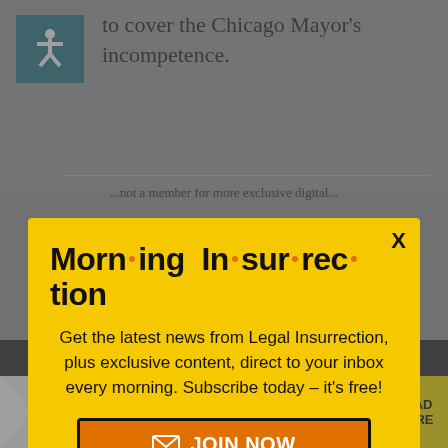to cover the Chicago Mayor's incompetence.
[Figure (screenshot): Modal popup newsletter signup overlay on a news website. Yellow background modal titled 'Morning Insurrection' with orange dots between syllables, body text inviting subscription, and an orange JOIN NOW button with envelope icon. Background shows partial article content and a bottom advertisement bar reading 'THE PERSPECTIVE SEE WHAT YOU'RE MISSING READ MORE'.]